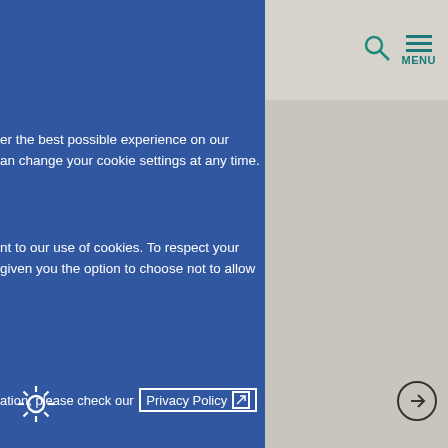[Figure (screenshot): Website cookie consent overlay showing a blue panel on the left with cookie policy text, Privacy Policy link, Reject all cookies button, Necessary Cookies section with gear icon, and a gray right panel showing navigation bar with search and menu icons, and a partial headline about supply chain failures with arrow button.]
er the best possible experience on our
an change your cookie settings at any time.
nt to our use of cookies. To respect your
given you the option to choose not to allow
ation, please check our Privacy Policy
Reject all cookies
ARY COOKIES
l to enable you to move around our
res of the sites to work correctly.
st – such as navigating between
may experience some problems
WILL
O A NEW
E FAILURES?
l supply chains
med over how...